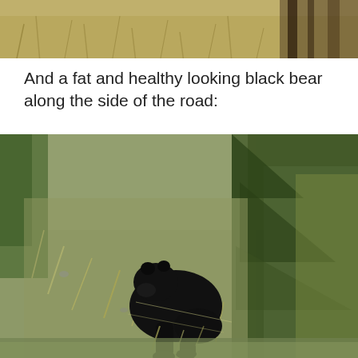[Figure (photo): Partial top portion of a photo showing dry grassy hillside vegetation, possibly a wildlife scene cropped at top]
And a fat and healthy looking black bear along the side of the road:
[Figure (photo): A large black bear walking on a grassy hillside slope next to tall evergreen/conifer trees, viewed from behind, with dry and green grasses surrounding it]